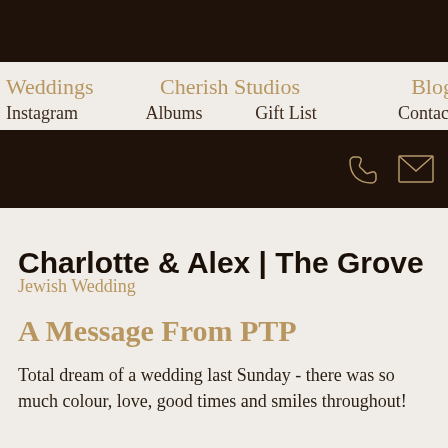Weddings | Cherish Studios | Blog | Instagram | Albums | Gift List | Contact
[Figure (screenshot): Dark navigation bar with phone icon and envelope/mail icon on the right]
Charlotte & Alex | The Grove
Jewish Wedding
A Message From PTP
Total dream of a wedding last Sunday - there was so much colour, love, good times and smiles throughout!